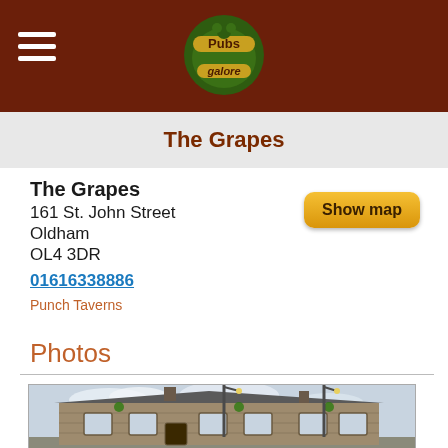Pubs Galore logo and navigation
The Grapes
The Grapes
161 St. John Street
Oldham
OL4 3DR
01616338886
Punch Taverns
Photos
[Figure (photo): Exterior photo of The Grapes pub, a stone-built building on a street corner with hanging flower baskets, street lamps in the foreground, and a partly cloudy sky.]